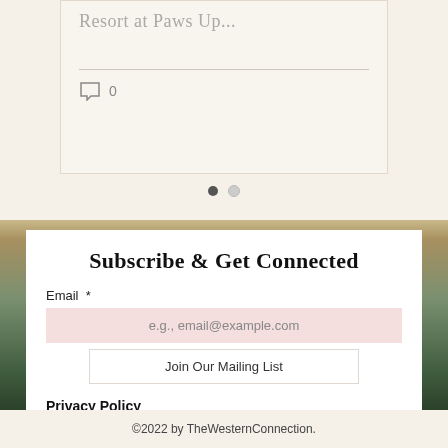Resort at Paws Up...
0
[Figure (other): Pagination indicator with two dots, first dot filled/active, second dot empty]
Subscribe & Get Connected
Email *
e.g., email@example.com
Join Our Mailing List
Privacy Policy
©2022 by TheWesternConnection.